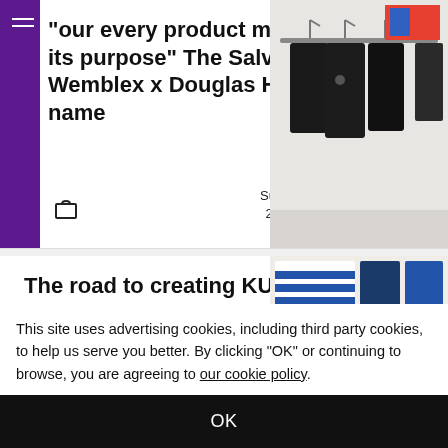“our every product must have its purpose” The Salvages x Wemblex x Douglas Hart triple name
Sumire Taya
2020-09-26
[Figure (photo): Black clothing items hanging on a rack in a minimalist store]
The road to creating KUON; How a love for fashion turned into a business
[Figure (photo): Folded blue and white striped garments and denim items laid flat]
This site uses advertising cookies, including third party cookies, to help us serve you better. By clicking “OK” or continuing to browse, you are agreeing to our cookie policy.
OK